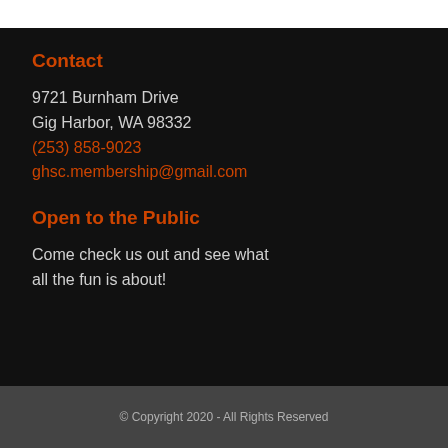Contact
9721 Burnham Drive
Gig Harbor, WA 98332
(253) 858-9023
ghsc.membership@gmail.com
Open to the Public
Come check us out and see what all the fun is about!
© Copyright 2020 - All Rights Reserved